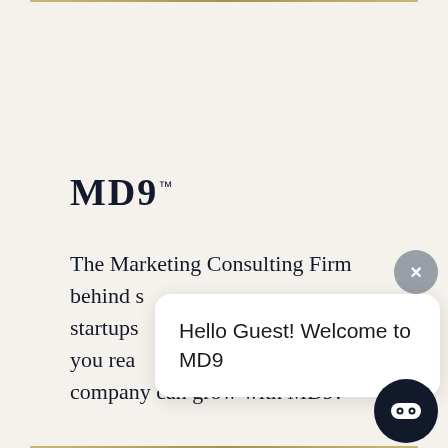[Figure (logo): MD9 trademark logo with serif bold font]
The Marketing Consulting Firm behind s startups, you rea company can grow with MD9?
[Figure (screenshot): Chat popup overlay with close button, greeting text 'Hello Guest! Welcome to MD9', and chatbot icon at bottom right]